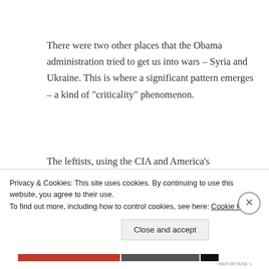There were two other places that the Obama administration tried to get us into wars – Syria and Ukraine. This is where a significant pattern emerges – a kind of “criticality” phenomenon.
The leftists, using the CIA and America’s adversaries as “ground control”, will set up a potential war, whereupon
Privacy & Cookies: This site uses cookies. By continuing to use this website, you agree to their use.
To find out more, including how to control cookies, see here: Cookie Policy
Close and accept